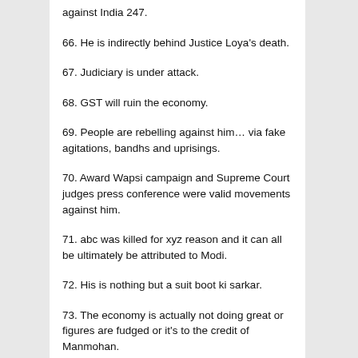against India 247.
66. He is indirectly behind Justice Loya's death.
67. Judiciary is under attack.
68. GST will ruin the economy.
69. People are rebelling against him… via fake agitations, bandhs and uprisings.
70. Award Wapsi campaign and Supreme Court judges press conference were valid movements against him.
71. abc was killed for xyz reason and it can all be ultimately be attributed to Modi.
72. His is nothing but a suit boot ki sarkar.
73. The economy is actually not doing great or figures are fudged or it's to the credit of Manmohan.